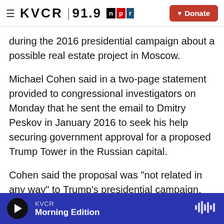KVCR 91.9 NPR | Donate
during the 2016 presidential campaign about a possible real estate project in Moscow.
Michael Cohen said in a two-page statement provided to congressional investigators on Monday that he sent the email to Dmitry Peskov in January 2016 to seek his help securing government approval for a proposed Trump Tower in the Russian capital.
Cohen said the proposal was "not related in any way" to Trump's presidential campaign, and that the decision to abandon it was based solely on
KVCR | Morning Edition